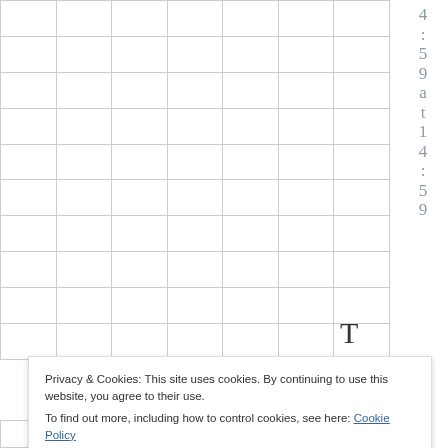|  |  |  |  |  |  |  |
|  |  |  |  |  |  |  |
|  |  |  |  |  |  |  |
|  |  |  |  |  |  |  |
|  |  |  |  |  |  |  |
|  |  |  |  |  |  |  |
|  |  |  |  |  |  |  |
|  |  |  |  |  |  |  |
|  |  |  |  |  |  |  |
|  |  |  |  |  |  |  |
4 : 5 9 a t 1 4 : 5 9
T
Privacy & Cookies: This site uses cookies. By continuing to use this website, you agree to their use.
To find out more, including how to control cookies, see here: Cookie Policy
Close and accept